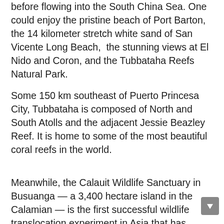before flowing into the South China Sea. One could enjoy the pristine beach of Port Barton, the 14 kilometer stretch white sand of San Vicente Long Beach,  the stunning views at El Nido and Coron, and the Tubbataha Reefs Natural Park.
Some 150 km southeast of Puerto Princesa City, Tubbataha is composed of North and South Atolls and the adjacent Jessie Beazley Reef. It is home to some of the most beautiful coral reefs in the world.
Meanwhile, the Calauit Wildlife Sanctuary in Busuanga — a 3,400 hectare island in the Calamian — is the first successful wildlife translocation experiment in Asia that has evolved into a home of important Philippine endemic and